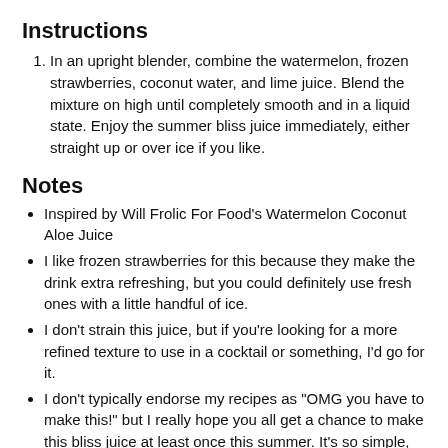Instructions
In an upright blender, combine the watermelon, frozen strawberries, coconut water, and lime juice. Blend the mixture on high until completely smooth and in a liquid state. Enjoy the summer bliss juice immediately, either straight up or over ice if you like.
Notes
Inspired by Will Frolic For Food's Watermelon Coconut Aloe Juice
I like frozen strawberries for this because they make the drink extra refreshing, but you could definitely use fresh ones with a little handful of ice.
I don't strain this juice, but if you're looking for a more refined texture to use in a cocktail or something, I'd go for it.
I don't typically endorse my recipes as "OMG you have to make this!" but I really hope you all get a chance to make this bliss juice at least once this summer. It's so simple, but so dang good.